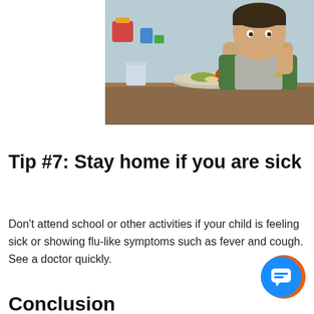[Figure (photo): A young child sitting at a table with a meal tray holding food, reaching with a spoon, colorful toys visible in the background.]
Tip #7: Stay home if you are sick
Don't attend school or other activities if your child is feeling sick or showing flu-like symptoms such as fever and cough. See a doctor quickly.
Conclusion